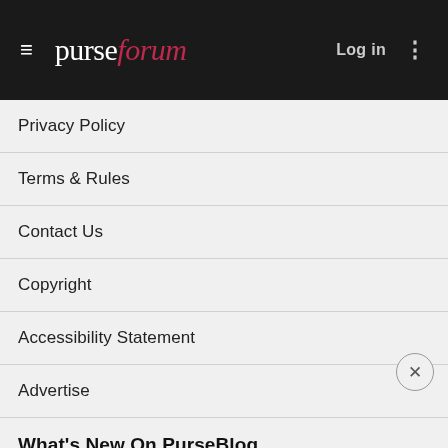purseforum — Log in
Privacy Policy
Terms & Rules
Contact Us
Copyright
Accessibility Statement
Advertise
What's New On PurseBlog
The Next Cult-Favorite Bag From JW Pei Is Here
Have You Shopped In Europe In The Last Month?
Celebs Wrap Up Summer With New Celine, Old Bottega And More